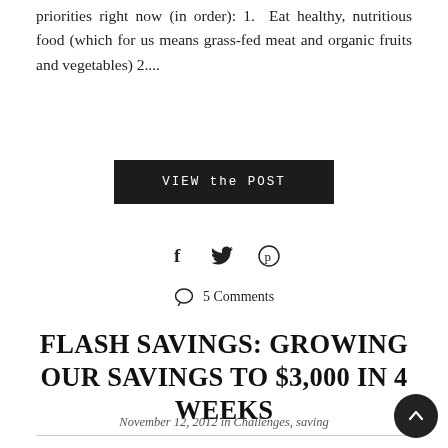priorities right now (in order): 1. Eat healthy, nutritious food (which for us means grass-fed meat and organic fruits and vegetables) 2....
VIEW the POST
[Figure (infographic): Social sharing icons: Facebook (f), Twitter (bird), Pinterest (P)]
5 Comments
FLASH SAVINGS: GROWING OUR SAVINGS TO $3,000 IN 4 WEEKS
November 12, 2012 in Challenges, saving
Murphy has hit us and hit us hard these last few months. Murphy is a challenge any time he shows up, but when you have a very small...